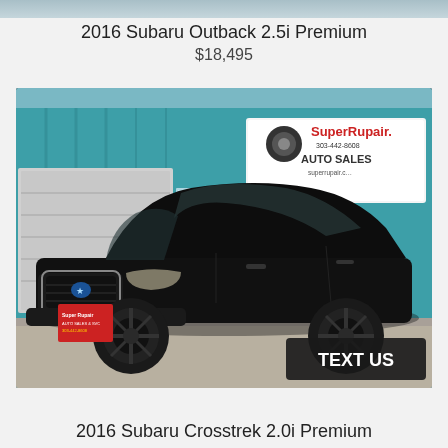[Figure (other): Top partial banner image strip (cropped car listing photo at top of page)]
2016 Subaru Outback 2.5i Premium
$18,495
[Figure (photo): Photo of a black 2016 Subaru Crosstrek parked in front of SuperRupair Auto Sales dealership (teal building). A 'TEXT US' button overlay appears in the bottom right corner of the image.]
2016 Subaru Crosstrek 2.0i Premium